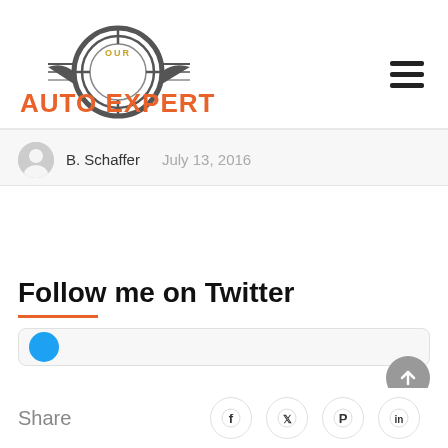[Figure (logo): Our Auto Expert logo with orange text and circular tire/wheel graphic with wing design]
B. Schaffer    July 13, 2016
Follow me on Twitter
[Figure (screenshot): Twitter widget partial view with blue circle icon]
Share
[Figure (infographic): Social share icons: Facebook, Twitter, Pinterest, LinkedIn]